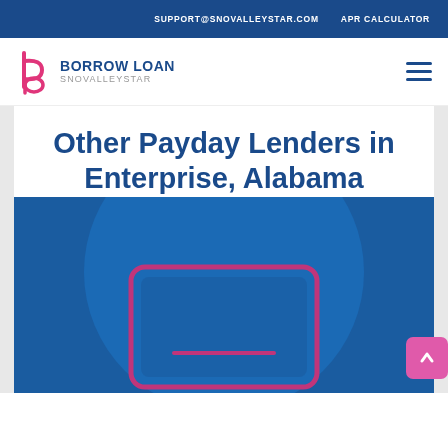SUPPORT@SNOVALLEYSTAR.COM   APR CALCULATOR
[Figure (logo): Borrow Loan SnovalleyStar logo with stylized letter b/p mark in pink/magenta and navy text]
Other Payday Lenders in Enterprise, Alabama
[Figure (illustration): Blue background with large circle and a pink/magenta outlined laptop/screen shape at the bottom center. Pink scroll-to-top button at bottom right.]